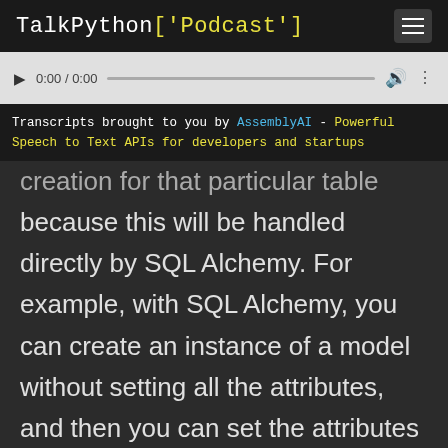TalkPython['Podcast']
[Figure (screenshot): Audio player with play button, time display 0:00 / 0:00, progress bar, volume and more icons]
Transcripts brought to you by AssemblyAI - Powerful Speech to Text APIs for developers and startups
creation for that particular table because this will be handled directly by SQL Alchemy. For example, with SQL Alchemy, you can create an instance of a model without setting all the attributes, and then you can set the attributes manually afterwards. If Pydantic was doing validation for that, that